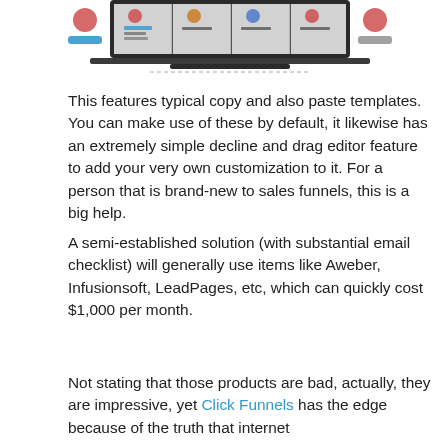[Figure (screenshot): Screenshot of a laptop screen showing affiliate software advertisements including BackPack, WaSDur, and Membership Site Software banners]
This features typical copy and also paste templates. You can make use of these by default, it likewise has an extremely simple decline and drag editor feature to add your very own customization to it. For a person that is brand-new to sales funnels, this is a big help.
A semi-established solution (with substantial email checklist) will generally use items like Aweber, Infusionsoft, LeadPages, etc, which can quickly cost $1,000 per month.
Not stating that those products are bad, actually, they are impressive, yet Click Funnels has the edge because of the truth that internet